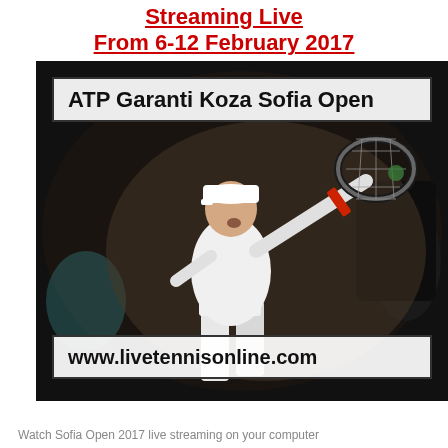Streaming Live
From 6-12 February 2017
[Figure (photo): Photo of a tennis player in white shirt and cap swinging a racket, with overlaid text banners: 'ATP Garanti Koza Sofia Open' at top and 'www.livetennisonline.com' at bottom]
Watch Sofia Open 2017 live streaming on your computer